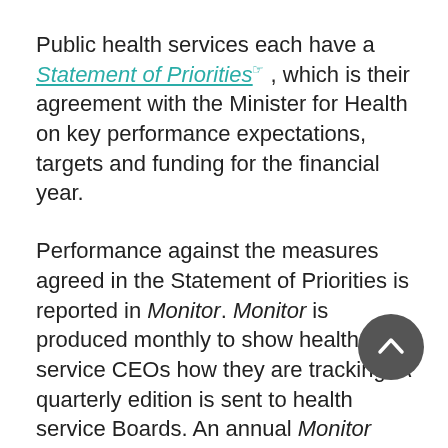Public health services each have a Statement of Priorities , which is their agreement with the Minister for Health on key performance expectations, targets and funding for the financial year.
Performance against the measures agreed in the Statement of Priorities is reported in Monitor. Monitor is produced monthly to show health service CEOs how they are tracking. A quarterly edition is sent to health service Boards. An annual Monitor report is also sent to CEOs and Boards.
Responsibility for Monitor moved from the Department of Health and Human Services when VALlue was established...